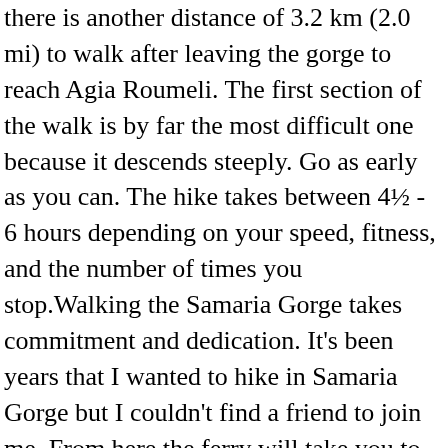there is another distance of 3.2 km (2.0 mi) to walk after leaving the gorge to reach Agia Roumeli. The first section of the walk is by far the most difficult one because it descends steeply. Go as early as you can. The hike takes between 4½ - 6 hours depending on your speed, fitness, and the number of times you stop.Walking the Samaria Gorge takes commitment and dedication. It's been years that I wanted to hike in Samaria Gorge but I couldn't find a friend to join me. From here the ferry will take you to Sougia. I just took an hours nap at the big rest stop about halfway down. It begins at the plateau of Omalos (1200m) and ends up in Agia Roumeli village after 16km. The trail is primarily used for hiking, walking, nature trips, and bird watching and is accessible year-round. The Samaria gorge, located in west Crete in the White Mountains, is the